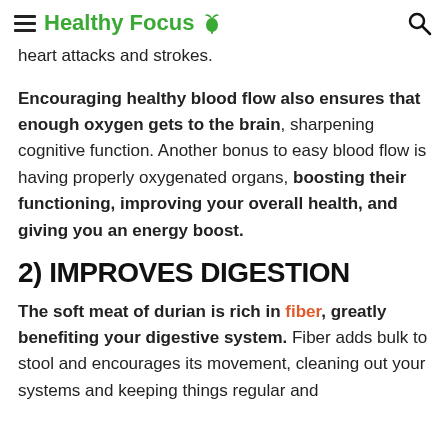Healthy Focus
heart attacks and strokes.
Encouraging healthy blood flow also ensures that enough oxygen gets to the brain, sharpening cognitive function. Another bonus to easy blood flow is having properly oxygenated organs, boosting their functioning, improving your overall health, and giving you an energy boost.
2) IMPROVES DIGESTION
The soft meat of durian is rich in fiber, greatly benefiting your digestive system. Fiber adds bulk to stool and encourages its movement, cleaning out your systems and keeping things regular and